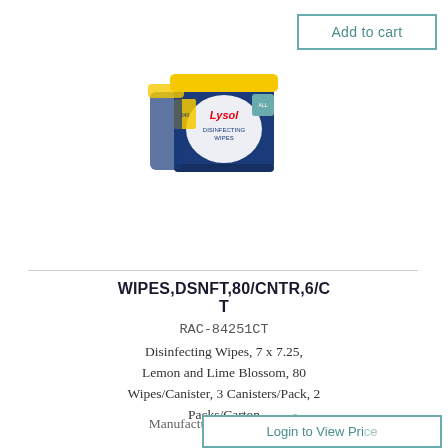Add to cart
[Figure (photo): Lysol Disinfecting Wipes product package — blue and yellow canister set]
WIPES,DSNFT,80/CNTR,6/CT
RAC-84251CT
Disinfecting Wipes, 7 x 7.25, Lemon and Lime Blossom, 80 Wipes/Canister, 3 Canisters/Pack, 2 Packs/Carton
Manufactured by: LYSOL® Brand
Login to View Price